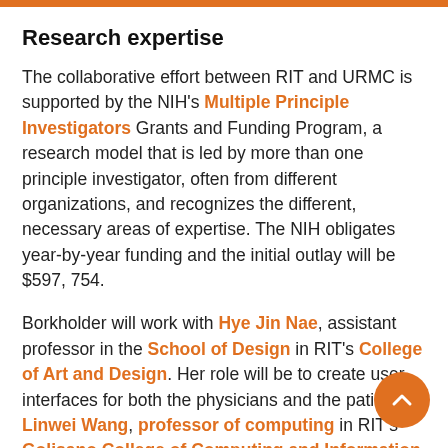Research expertise
The collaborative effort between RIT and URMC is supported by the NIH's Multiple Principle Investigators Grants and Funding Program, a research model that is led by more than one principle investigator, often from different organizations, and recognizes the different, necessary areas of expertise. The NIH obligates year-by-year funding and the initial outlay will be $597, 754.
Borkholder will work with Hye Jin Nae, assistant professor in the School of Design in RIT's College of Art and Design. Her role will be to create user interfaces for both the physicians and the patients. Linwei Wang, professor of computing in RIT's Golisano College of Computing and Information Sciences, will lead the artificial